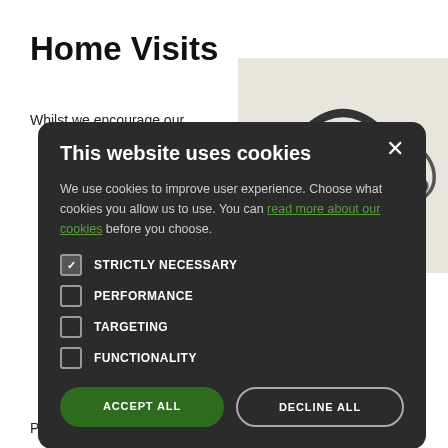Home Visits
Whilst we encourage our
[Figure (photo): Black leather doctor's bag with stethoscope and wooden tongue depressors on a white background]
e housebound or will only visit you a dition requires i s needed.
Please bear this in mind and be prepared to provide
[Figure (screenshot): Cookie consent modal overlay on dark background. Title: 'This website uses cookies'. Body: 'We use cookies to improve user experience. Choose what cookies you allow us to use. You can read more about our cookies before you choose.' Checkboxes: STRICTLY NECESSARY (checked), PERFORMANCE (unchecked), TARGETING (unchecked), FUNCTIONALITY (unchecked). Buttons: ACCEPT ALL (green), DECLINE ALL (outlined).]